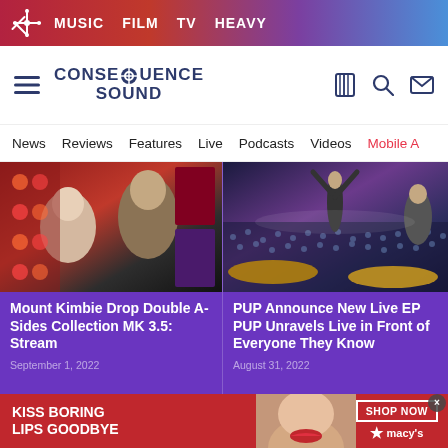MUSIC  FILM  TV  HEAVY
[Figure (logo): Consequence Sound logo with navigation links: MUSIC, FILM, TV, HEAVY in top red/gradient bar]
[Figure (logo): Consequence Sound website logo with hamburger menu, search, bookmark, and mail icons]
News  Reviews  Features  Live  Podcasts  Videos  Mobile A
[Figure (photo): Mount Kimbie two band members photo on red background]
Mount Kimbie Drop Double A-Sides Collection MK 3.5: Stream
September 1, 2022
[Figure (photo): PUP band performing live on stage with crowd]
PUP Announce New Live EP PUP Unravels Live in Front of Everyone They Know
August 31, 2022
[Figure (photo): Macy's advertisement: KISS BORING LIPS GOODBYE with model, SHOP NOW button and Macy's star logo]